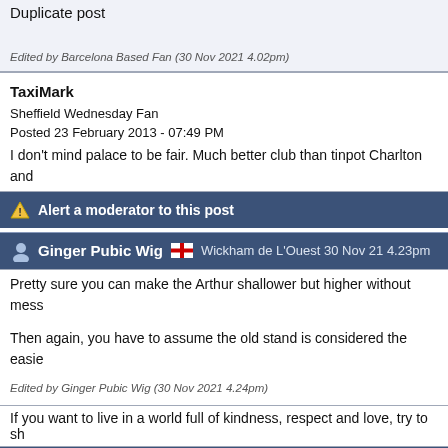Duplicate post
Edited by Barcelona Based Fan (30 Nov 2021 4.02pm)
TaxiMark
Sheffield Wednesday Fan
Posted 23 February 2013 - 07:49 PM
I don't mind palace to be fair. Much better club than tinpot Charlton and
Alert a moderator to this post
Ginger Pubic Wig  Wickham de L'Ouest 30 Nov 21 4.23pm
Pretty sure you can make the Arthur shallower but higher without mess
Then again, you have to assume the old stand is considered the easie
Edited by Ginger Pubic Wig (30 Nov 2021 4.24pm)
If you want to live in a world full of kindness, respect and love, try to sh
Alert a moderator to this post